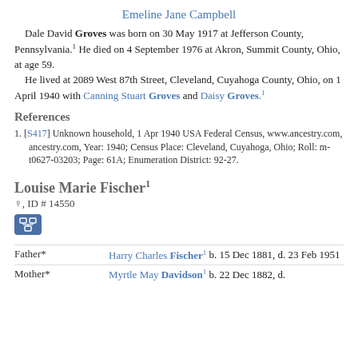Emeline Jane Campbell
Dale David Groves was born on 30 May 1917 at Jefferson County, Pennsylvania.1 He died on 4 September 1976 at Akron, Summit County, Ohio, at age 59.
    He lived at 2089 West 87th Street, Cleveland, Cuyahoga County, Ohio, on 1 April 1940 with Canning Stuart Groves and Daisy Groves.1
References
1. [S417] Unknown household, 1 Apr 1940 USA Federal Census, www.ancestry.com, ancestry.com, Year: 1940; Census Place: Cleveland, Cuyahoga, Ohio; Roll: m-t0627-03203; Page: 61A; Enumeration District: 92-27.
Louise Marie Fischer1
♀, ID # 14550
[Figure (other): Icon button with family tree/pedigree chart symbol]
| Relation | Person |
| --- | --- |
| Father* | Harry Charles Fischer1 b. 15 Dec 1881, d. 23 Feb 1951 |
| Mother* | Myrtle May Davidson1 b. 22 Dec 1882, d. |